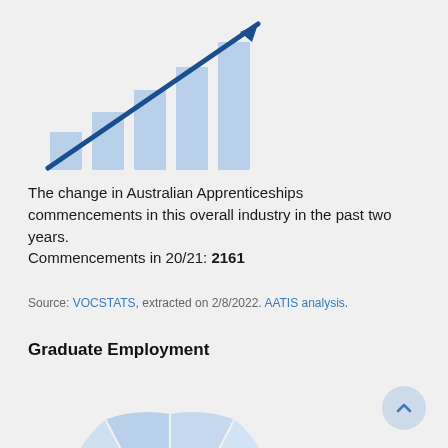[Figure (infographic): Rising bar chart infographic with an upward-pointing arrow, light blue bars increasing in height left to right on a light grey background]
The change in Australian Apprenticeships commencements in this overall industry in the past two years. Commencements in 20/21: 2161
Source: VOCSTATS, extracted on 2/8/2022. AATIS analysis.
Graduate Employment
[Figure (other): Semi-circular gauge/pie chart showing graduate employment segments. Most segments are light blue; one large dark navy blue segment labeled 'Large' on the right. The leftmost segment is labeled 'Small'.]